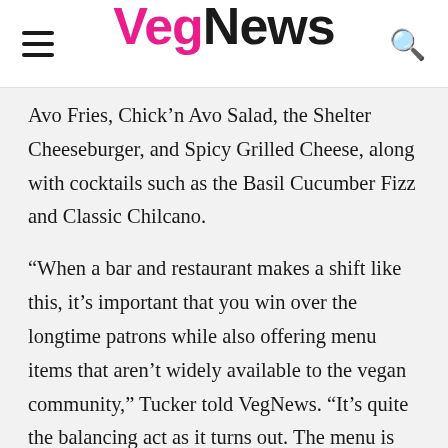VegNews
Avo Fries, Chick'n Avo Salad, the Shelter Cheeseburger, and Spicy Grilled Cheese, along with cocktails such as the Basil Cucumber Fizz and Classic Chilcano.
“When a bar and restaurant makes a shift like this, it’s important that you win over the longtime patrons while also offering menu items that aren’t widely available to the vegan community,” Tucker told VegNews. “It’s quite the balancing act as it turns out. The menu is still in a very fluid state, but I’d say we’re off to a great start.”
Sepesy and Carlson were inspired to make the change after befriending the team behind Cycle Dogs. Sepesy had recently become vegan with his family due to his